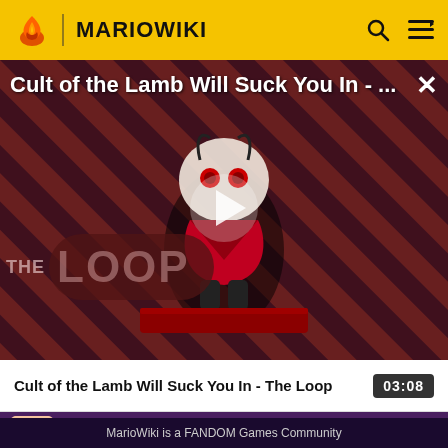MARIOWIKI
[Figure (screenshot): Video thumbnail for 'Cult of the Lamb Will Suck You In - The Loop' showing a cartoon lamb character on a striped dark red/purple background with THE LOOP text overlay and a play button in the center]
Cult of the Lamb Will Suck You In - The Loop  03:08
[Figure (screenshot): Purple promo bar with app icon and Google Play button]
MarioWiki is a FANDOM Games Community